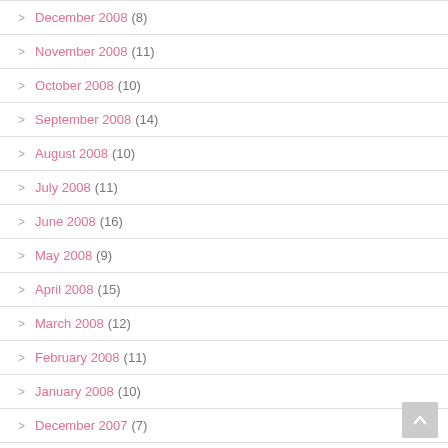> December 2008 (8)
> November 2008 (11)
> October 2008 (10)
> September 2008 (14)
> August 2008 (10)
> July 2008 (11)
> June 2008 (16)
> May 2008 (9)
> April 2008 (15)
> March 2008 (12)
> February 2008 (11)
> January 2008 (10)
> December 2007 (7)
> November 2007 (10)